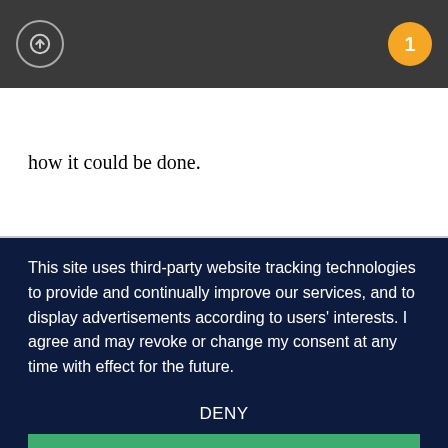[Figure (screenshot): Dark grey toolbar with circular up-arrow button on left and yellow badge with number 1 on right]
how it could be done.
This site uses third-party website tracking technologies to provide and continually improve our services, and to display advertisements according to users' interests. I agree and may revoke or change my consent at any time with effect for the future.
DENY
ACCEPT
MORE
[Figure (logo): Usercentrics logo — blue circle icon with fingerprint-like symbol on left, and 'Powered by usercentrics' text on right]